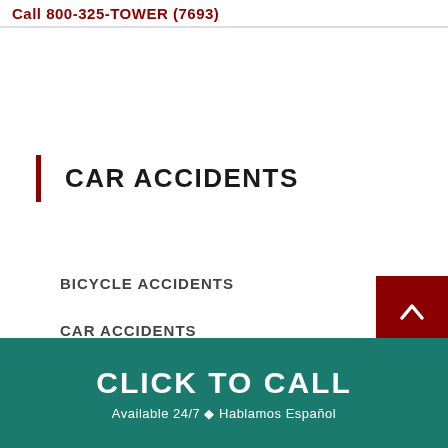Call 800-325-TOWER (7693)
CAR ACCIDENTS
BICYCLE ACCIDENTS
CAR ACCIDENTS
CLICK TO CALL · Available 24/7 ◆ Hablamos Español